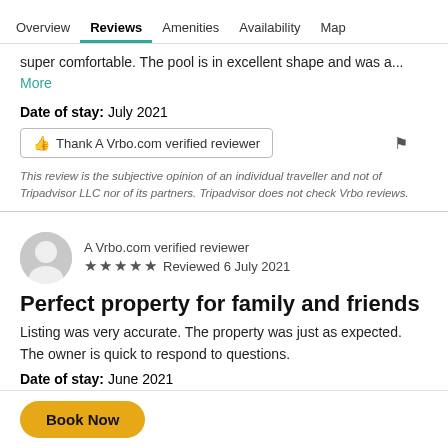Overview | Reviews | Amenities | Availability | Map
super comfortable. The pool is in excellent shape and was a... More
Date of stay: July 2021
Thank A Vrbo.com verified reviewer
This review is the subjective opinion of an individual traveller and not of Tripadvisor LLC nor of its partners. Tripadvisor does not check Vrbo reviews.
A Vrbo.com verified reviewer
Reviewed 6 July 2021
Perfect property for family and friends
Listing was very accurate. The property was just as expected. The owner is quick to respond to questions.
Date of stay: June 2021
Book Now